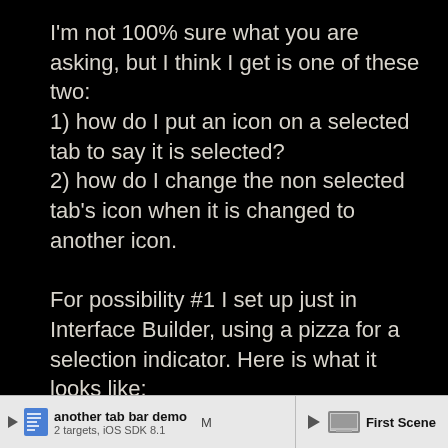I'm not 100% sure what you are asking, but I think I get is one of these two:
1) how do I put an icon on a selected tab to say it is selected?
2) how do I change the non selected tab's icon when it is changed to another icon.

For possibility #1 I set up just in Interface Builder, using a pizza for a selection indicator. Here is what it looks like:
[Figure (screenshot): Xcode interface builder project navigator bar showing 'another tab bar demo' project with 2 targets, iOS SDK 8.1, and a 'First Scene' entry]